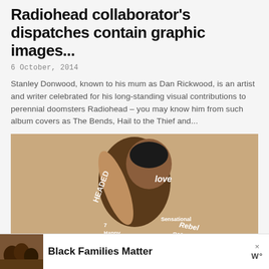Radiohead collaborator's dispatches contain graphic images...
6 October, 2014
Stanley Donwood, known to his mum as Dan Rickwood, is an artist and writer celebrated for his long-standing visual contributions to perennial doomsters Radiohead – you may know him from such album covers as The Bends, Hail to the Thief and...
[Figure (photo): Album cover image showing a woman with short dark hair, arms raised, with white handwritten text overlaid including words like 'love', 'CHALICE', 'UNAPOLOGETIC', 'Roc', 'Sensational', 'Happy', 'Fearless']
[Figure (photo): Advertisement banner showing a family photo with text 'Black Families Matter' and a logo 'W°']